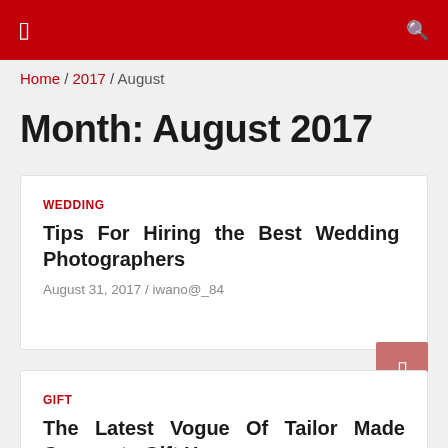Home / 2017 / August
Month: August 2017
WEDDING
Tips For Hiring the Best Wedding Photographers
August 31, 2017 / iwano@_84
GIFT
The Latest Vogue Of Tailor Made Corporate Gift Hampers